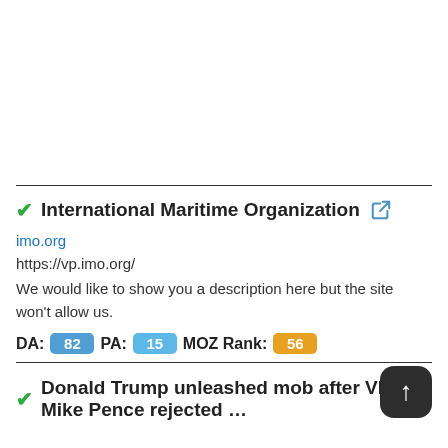✓International Maritime Organization 🔗
imo.org
https://vp.imo.org/
We would like to show you a description here but the site won't allow us.
DA: 82  PA: 15  MOZ Rank: 56
✓Donald Trump unleashed mob after VP Mike Pence rejected … 🔗